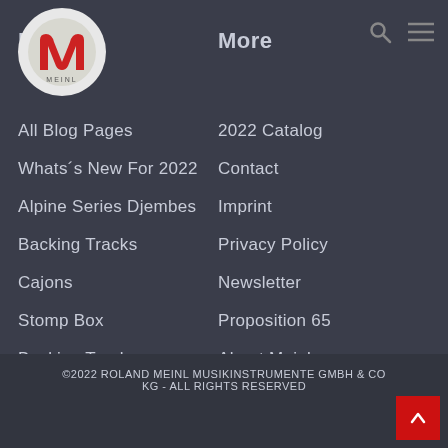[Figure (logo): Meinl logo: red stylized letter M on grey circle with MEINL text]
Blog
More
All Blog Pages
Whats´s New For 2022
Alpine Series Djembes
Backing Tracks
Cajons
Stomp Box
Backing Tracks
Microphone Clamps
2022 Catalog
Contact
Imprint
Privacy Policy
Newsletter
Proposition 65
About Meinl
Endorsement Form
Cookie Settings
Dealer Locator
Meinl Percussion Wiki
©2022 ROLAND MEINL MUSIKINSTRUMENTE GMBH & CO KG - ALL RIGHTS RESERVED